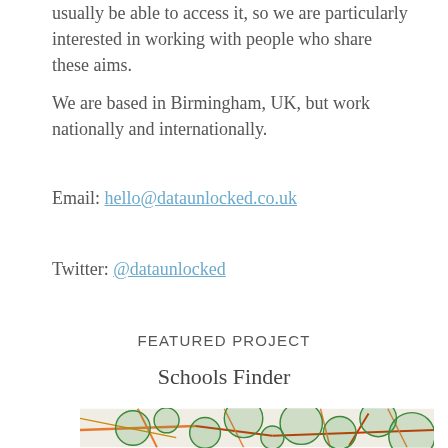usually be able to access it, so we are particularly interested in working with people who share these aims.
We are based in Birmingham, UK, but work nationally and internationally.
Email: hello@dataunlocked.co.uk
Twitter: @dataunlocked
FEATURED PROJECT
Schools Finder
[Figure (map): A map showing Birmingham, UK area with green circles overlaid on roads and city areas, representing school catchment areas or similar geographic data.]